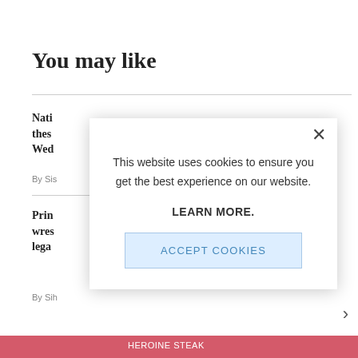You may like
Nati
thes
Wed
By Sis
Prin
wres
lega
By Sih
This website uses cookies to ensure you get the best experience on our website.

LEARN MORE.

ACCEPT COOKIES